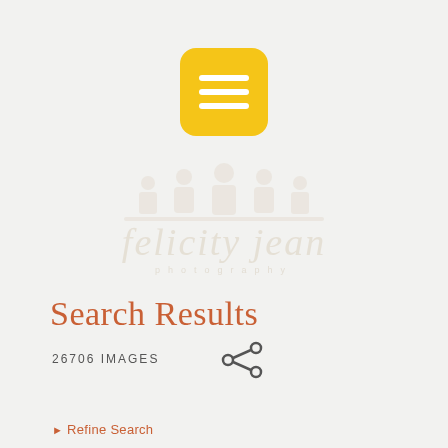[Figure (logo): Yellow rounded square with three horizontal white lines (hamburger menu icon)]
[Figure (logo): Watermark logo of 'felicity jean photography' with decorative icon above text, low opacity]
Search Results
26706 IMAGES
[Figure (other): Share icon (less-than symbol style share arrow)]
► Refine Search